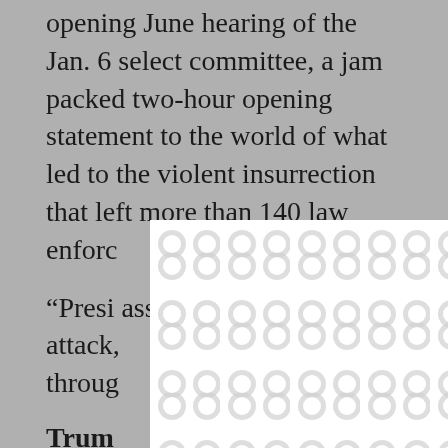opening June hearing of the Jan. 6 select committee, a jam packed two-hour opening statement to the world of what led to the violent insurrection that left more than 140 law enforc
[Figure (other): Modal/popup overlay with a decorative pattern of interlocking rounded shapes (binocular/figure-8 pattern) in light gray on white background, with a close (×) button in the top right corner]
“Presi assembl attack, olic throug nt.
Trum
Trump also pressured Pence, who was presiding over the joint session of Congress that day, to not count electoral votes, a move that “likely”